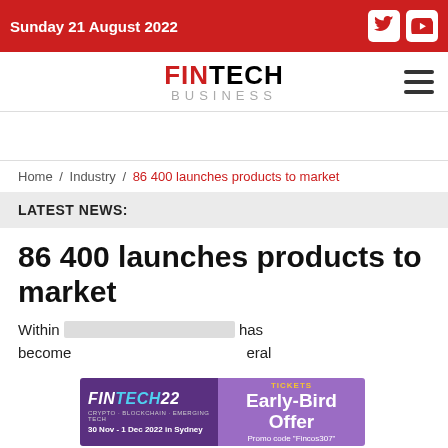Sunday 21 August 2022
[Figure (logo): FINTECH BUSINESS logo with hamburger menu icon]
Home / Industry / 86 400 launches products to market
LATEST NEWS:
86 400 launches products to market
Within [text obscured by ad] has become [text obscured by ad] eral [text cut off]
[Figure (illustration): FINTECH22 conference ad with Early-Bird Offer promo banner]